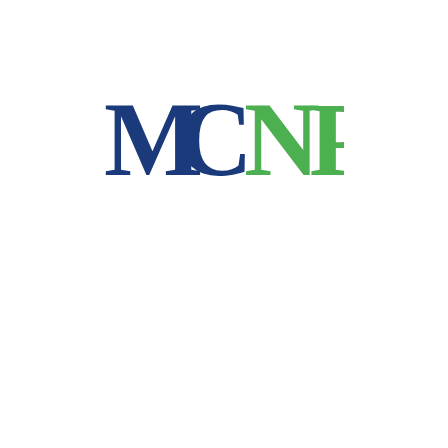[Figure (logo): MCNP logo: 'MC' in dark blue serif font, 'NP' in green serif font, followed by a circular swoosh icon with yellow crescent and blue swirling arcs]